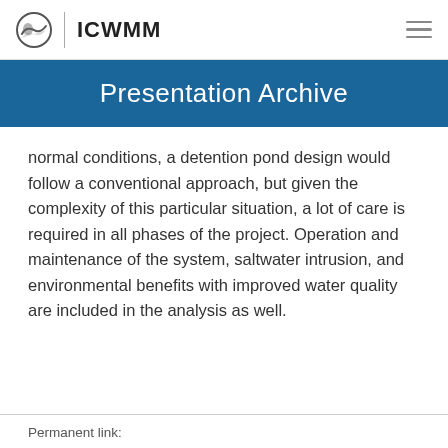ICWMM
Presentation Archive
normal conditions, a detention pond design would follow a conventional approach, but given the complexity of this particular situation, a lot of care is required in all phases of the project. Operation and maintenance of the system, saltwater intrusion, and environmental benefits with improved water quality are included in the analysis as well.
Permanent link: